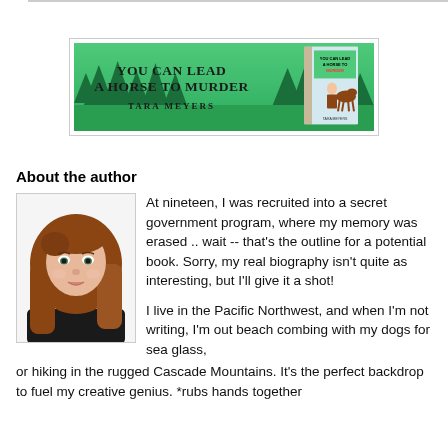[Figure (illustration): Book banner/advertisement for 'You Can Lead a Horse to Murder' by Tara Meyers. Green background with trees, bold title text on left, book cover image on right showing a woman with a horse.]
About the author
[Figure (illustration): Illustrated portrait of a woman with long auburn/brown hair and green eyes, wearing a black top. Digital art style.]
At nineteen, I was recruited into a secret government program, where my memory was erased .. wait -- that's the outline for a potential book. Sorry, my real biography isn't quite as interesting, but I'll give it a shot!

I live in the Pacific Northwest, and when I'm not writing, I'm out beach combing with my dogs for sea glass, or hiking in the rugged Cascade Mountains. It's the perfect backdrop to fuel my creative genius. *rubs hands together